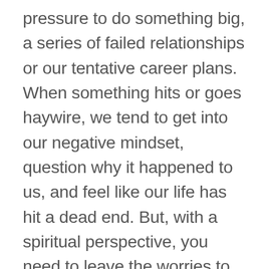pressure to do something big, a series of failed relationships or our tentative career plans. When something hits or goes haywire, we tend to get into our negative mindset, question why it happened to us, and feel like our life has hit a dead end. But, with a spiritual perspective, you need to leave the worries to God and know with everything wrong comes a door that leads us to something good.
The more we cling to fear, the far we get from our happiness. Believe the Universe has aligned everything for your higher self